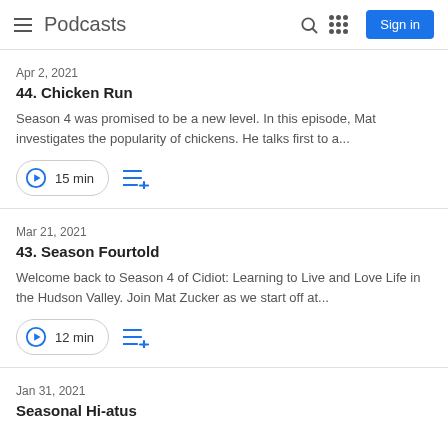Podcasts
Apr 2, 2021
44. Chicken Run
Season 4 was promised to be a new level. In this episode, Mat investigates the popularity of chickens. He talks first to a...
15 min
Mar 21, 2021
43. Season Fourtold
Welcome back to Season 4 of Cidiot: Learning to Live and Love Life in the Hudson Valley. Join Mat Zucker as we start off at...
12 min
Jan 31, 2021
Seasonal Hi-atus